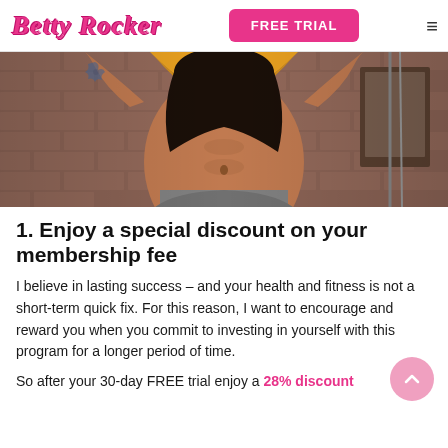Betty Rocker | FREE TRIAL
[Figure (photo): Fitness photo of a tattooed woman in a yellow crop top with hands raised above head, showing toned midsection, against a brick wall background]
1. Enjoy a special discount on your membership fee
I believe in lasting success – and your health and fitness is not a short-term quick fix. For this reason, I want to encourage and reward you when you commit to investing in yourself with this program for a longer period of time.
So after your 30-day FREE trial enjoy a 28% discount